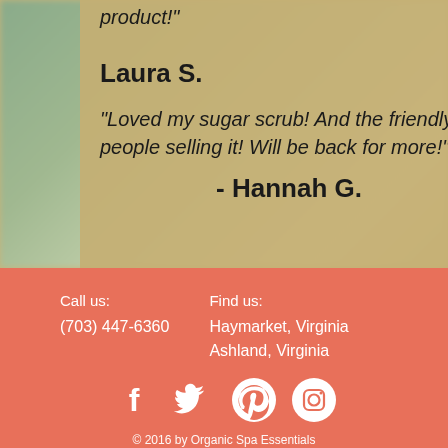product!"
- Laura S.
"Loved my sugar scrub! And the friendly people selling it! Will be back for more!"
- Hannah G.
Call us:
(703) 447-6360
Find us:
Haymarket, Virginia
Ashland, Virginia
[Figure (infographic): Social media icons: Facebook, Twitter, Pinterest, Instagram]
© 2016 by Organic Spa Essentials